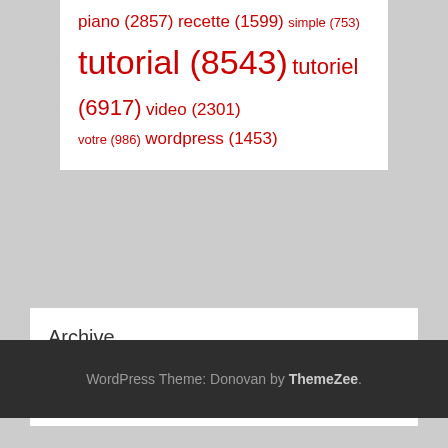piano (2857) recette (1599) simple (753) tutorial (8543) tutoriel (6917) video (2301) votre (986) wordpress (1453)
Archive
Sélectionner un mois
WordPress Theme: Donovan by ThemeZee.